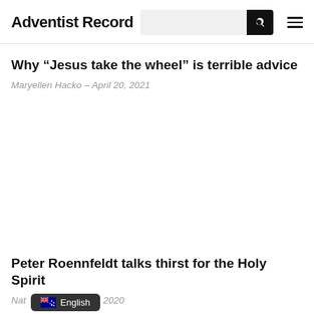Adventist Record
Why “Jesus take the wheel” is terrible advice
Maryellen Hacko – April 20, 2021
Peter Roennfeldt talks thirst for the Holy Spirit
Nat[alie] – October 29, 2020